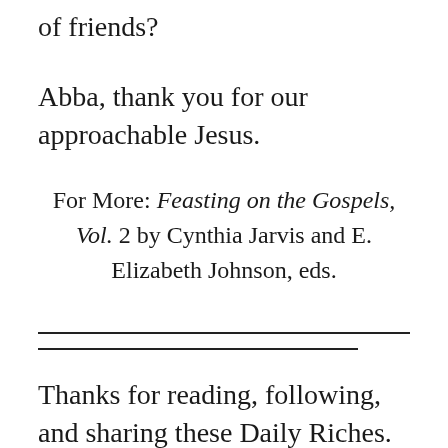of friends?
Abba, thank you for our approachable Jesus.
For More: Feasting on the Gospels, Vol. 2 by Cynthia Jarvis and E. Elizabeth Johnson, eds.
Thanks for reading, following, and sharing these Daily Riches. If you find these riches